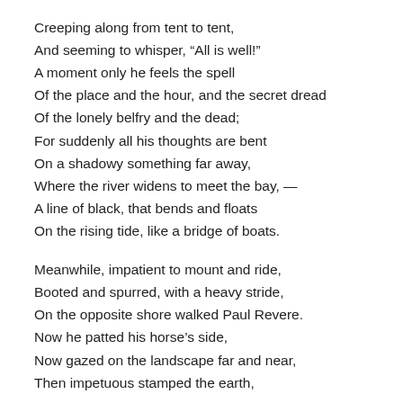Creeping along from tent to tent,
And seeming to whisper, “All is well!”
A moment only he feels the spell
Of the place and the hour, and the secret dread
Of the lonely belfry and the dead;
For suddenly all his thoughts are bent
On a shadowy something far away,
Where the river widens to meet the bay, —
A line of black, that bends and floats
On the rising tide, like a bridge of boats.

Meanwhile, impatient to mount and ride,
Booted and spurred, with a heavy stride,
On the opposite shore walked Paul Revere.
Now he patted his horse’s side,
Now gazed on the landscape far and near,
Then impetuous stamped the earth,